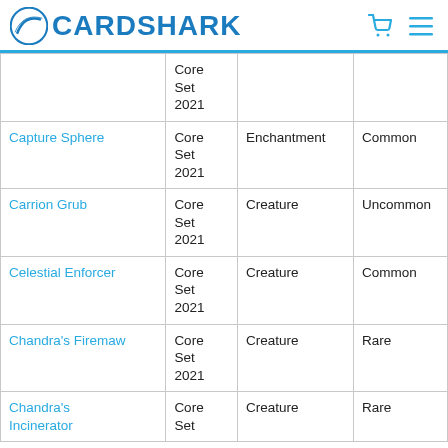CARDSHARK
| Name | Set | Type | Rarity |
| --- | --- | --- | --- |
|  | Core Set 2021 |  |  |
| Capture Sphere | Core Set 2021 | Enchantment | Common |
| Carrion Grub | Core Set 2021 | Creature | Uncommon |
| Celestial Enforcer | Core Set 2021 | Creature | Common |
| Chandra's Firemaw | Core Set 2021 | Creature | Rare |
| Chandra's Incinerator | Core Set 2021 | Creature | Rare |